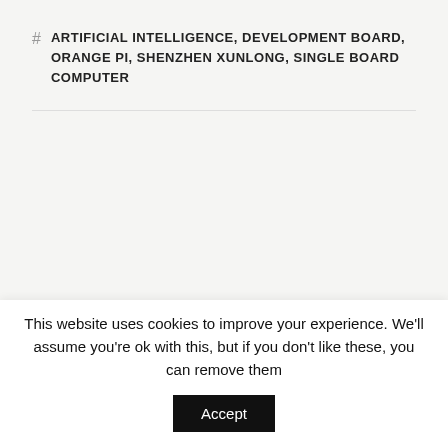# ARTIFICIAL INTELLIGENCE, DEVELOPMENT BOARD, ORANGE PI, SHENZHEN XUNLONG, SINGLE BOARD COMPUTER
This website uses cookies to improve your experience. We'll assume you're ok with this, but if you don't like these, you can remove them   Accept